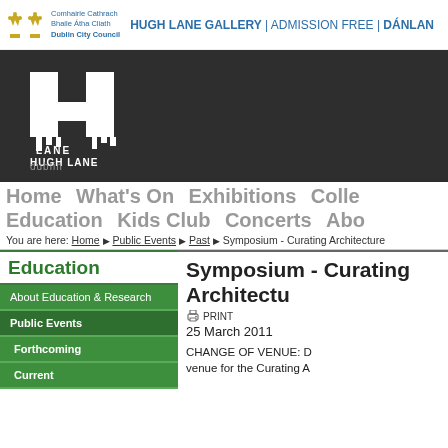HUGH LANE GALLERY | ADMISSION FREE | DÁNLANN HUGH LANE
[Figure (logo): Hugh Lane Gallery logo on dark background banner]
Home  What's On  Exhibitions  Collections  Education  Kids Club  Concerts  About
You are here: Home ▶ Public Events ▶ Past ▶ Symposium - Curating Architecture
Education
About Education & Research
Public Events
Forthcoming
Current
Symposium - Curating Architecture
PRINT
25 March 2011
CHANGE OF VENUE: D... venue for the Curating A...